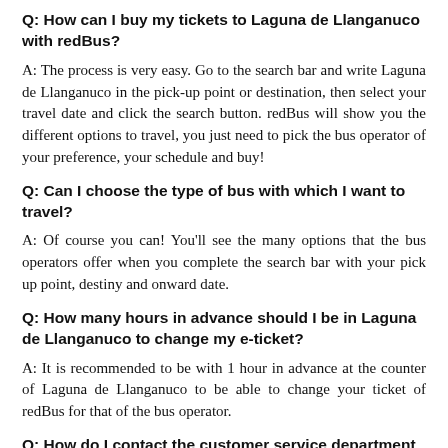Q: How can I buy my tickets to Laguna de Llanganuco with redBus?
A: The process is very easy. Go to the search bar and write Laguna de Llanganuco in the pick-up point or destination, then select your travel date and click the search button. redBus will show you the different options to travel, you just need to pick the bus operator of your preference, your schedule and buy!
Q: Can I choose the type of bus with which I want to travel?
A: Of course you can! You'll see the many options that the bus operators offer when you complete the search bar with your pick up point, destiny and onward date.
Q: How many hours in advance should I be in Laguna de Llanganuco to change my e-ticket?
A: It is recommended to be with 1 hour in advance at the counter of Laguna de Llanganuco to be able to change your ticket of redBus for that of the bus operator.
Q: How do I contact the customer service department of redBus, Peru?